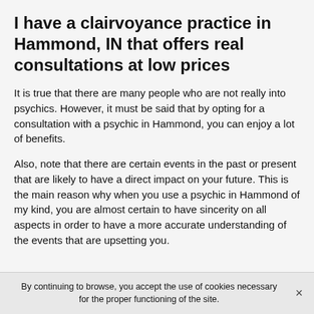I have a clairvoyance practice in Hammond, IN that offers real consultations at low prices
It is true that there are many people who are not really into psychics. However, it must be said that by opting for a consultation with a psychic in Hammond, you can enjoy a lot of benefits.
Also, note that there are certain events in the past or present that are likely to have a direct impact on your future. This is the main reason why when you use a psychic in Hammond of my kind, you are almost certain to have sincerity on all aspects in order to have a more accurate understanding of the events that are upsetting you.
By continuing to browse, you accept the use of cookies necessary for the proper functioning of the site.